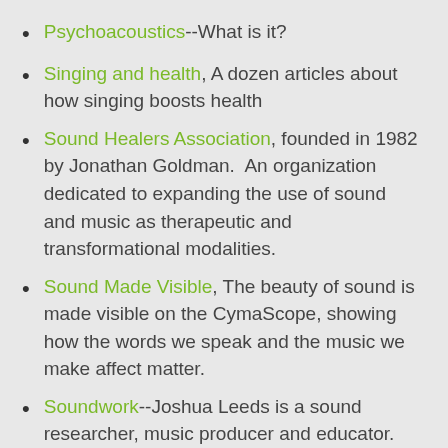Psychoacoustics--What is it?
Singing and health, A dozen articles about how singing boosts health
Sound Healers Association, founded in 1982 by Jonathan Goldman. An organization dedicated to expanding the use of sound and music as therapeutic and transformational modalities.
Sound Made Visible, The beauty of sound is made visible on the CymaScope, showing how the words we speak and the music we make affect matter.
Soundwork--Joshua Leeds is a sound researcher, music producer and educator. He is one of few published authorities in the field of psychoacoustics–the study of the effects of music and sound on the human nervous system. He produced a series of recordings that produce